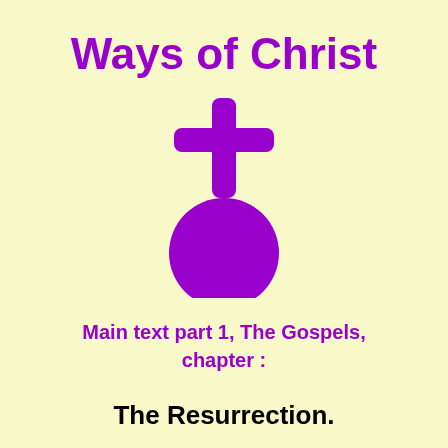Ways of Christ
[Figure (illustration): A purple Christian cross symbol above a purple filled circle, forming a stylized religious emblem.]
Main text part 1, The Gospels, chapter :
The Resurrection.